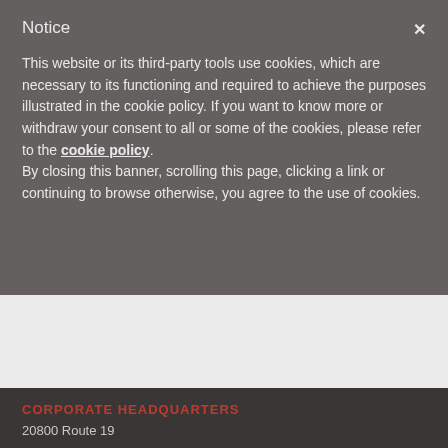Notice
This website or its third-party tools use cookies, which are necessary to its functioning and required to achieve the purposes illustrated in the cookie policy. If you want to know more or withdraw your consent to all or some of the cookies, please refer to the cookie policy.
By closing this banner, scrolling this page, clicking a link or continuing to browse otherwise, you agree to the use of cookies.
CORPORATE HEADQUARTERS
20800 Route 19